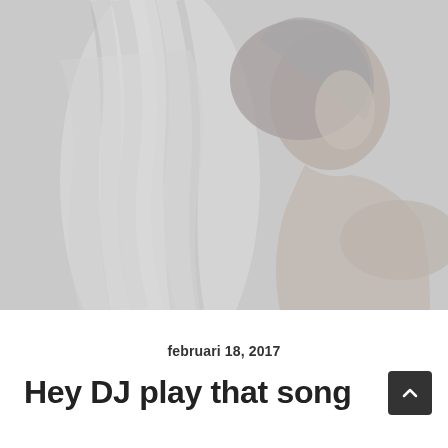[Figure (photo): Grayscale photo of a woman in profile view, wearing a draped white fabric/garment, with long hair pulled back, looking to the right]
februari 18, 2017
Hey DJ play that song